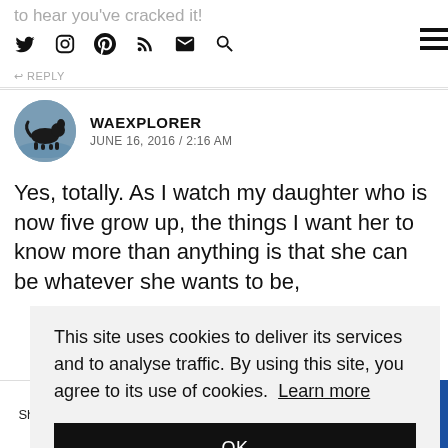to hear you've cracked it!
↩ REPLY
WAEXPLORER
JUNE 16, 2016 / 2:16 AM
Yes, totally. As I watch my daughter who is now five grow up, the things I want her to know more than anything is that she can be whatever she wants to be,
This site uses cookies to deliver its services and to analyse traffic. By using this site, you agree to its use of cookies. Learn more
OK
Shares | Facebook | Twitter | Pinterest | Email | WhatsApp | Crown